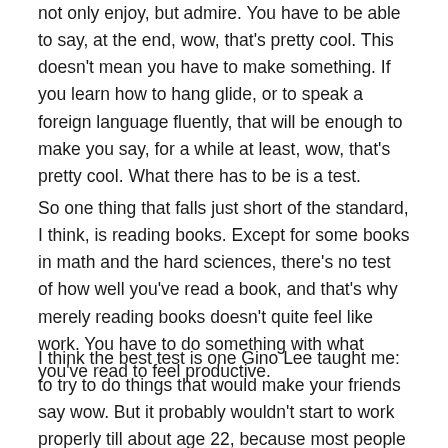not only enjoy, but admire. You have to be able to say, at the end, wow, that's pretty cool. This doesn't mean you have to make something. If you learn how to hang glide, or to speak a foreign language fluently, that will be enough to make you say, for a while at least, wow, that's pretty cool. What there has to be is a test.
So one thing that falls just short of the standard, I think, is reading books. Except for some books in math and the hard sciences, there's no test of how well you've read a book, and that's why merely reading books doesn't quite feel like work. You have to do something with what you've read to feel productive.
I think the best test is one Gino Lee taught me: to try to do things that would make your friends say wow. But it probably wouldn't start to work properly till about age 22, because most people haven't had a big enough sample to pick friends from before then.